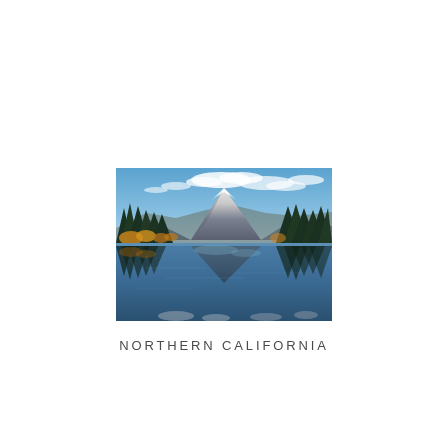[Figure (photo): Landscape photograph of a mountain lake in Northern California. A snow-capped mountain peak rises in the center background under a blue sky with wispy white clouds. Dense evergreen trees (pines) line both sides of the lake. Autumn-colored foliage (golden/orange) is visible at the tree bases on the left. The calm lake perfectly reflects the mountain, sky, and trees.]
NORTHERN CALIFORNIA